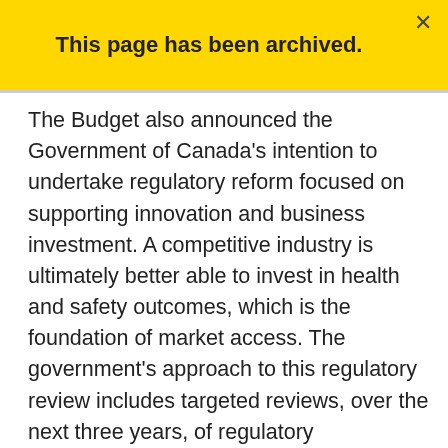This page has been archived.
The Budget also announced the Government of Canada's intention to undertake regulatory reform focused on supporting innovation and business investment. A competitive industry is ultimately better able to invest in health and safety outcomes, which is the foundation of market access. The government's approach to this regulatory review includes targeted reviews, over the next three years, of regulatory